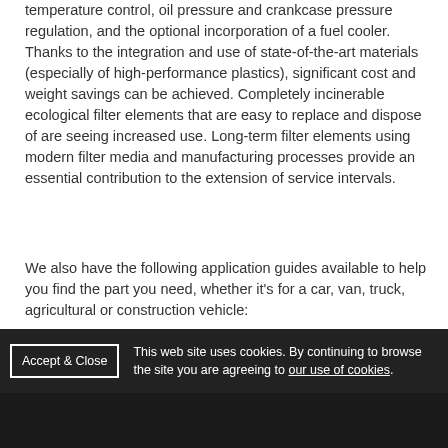temperature control, oil pressure and crankcase pressure regulation, and the optional incorporation of a fuel cooler. Thanks to the integration and use of state-of-the-art materials (especially of high-performance plastics), significant cost and weight savings can be achieved. Completely incinerable ecological filter elements that are easy to replace and dispose of are seeing increased use. Long-term filter elements using modern filter media and manufacturing processes provide an essential contribution to the extension of service intervals.
We also have the following application guides available to help you find the part you need, whether it's for a car, van, truck, agricultural or construction vehicle:
Mahle filters for passenger cars PDF (8MB)
Mahle filters for trucks and buses PDF (5.5MB)
Mahle filters for agricultural equipment PDF (7MB)
This web site uses cookies. By continuing to browse the site you are agreeing to our use of cookies.